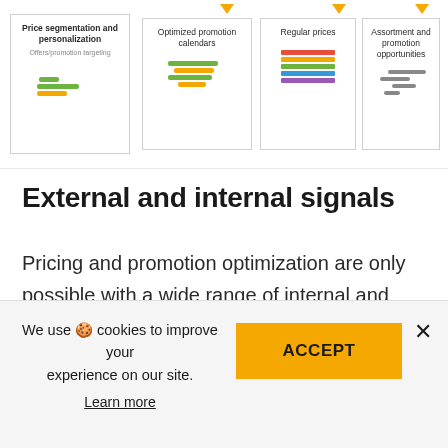[Figure (infographic): Diagram strip showing pricing optimization outputs: Price segmentation and personalization (Offers/promotion targeting), Optimized promotion calendars, Regular prices, Assortment and promotion opportunities — boxes with colored bar icon illustrations and downward arrows]
External and internal signals
Pricing and promotion optimization are only possible with a wide range of internal and external signals and competitive data. Our pricing optimization platform achieves high accuracy via powerful data collection and management capabilities for first-party
We use 🍪 cookies to improve your experience on our site. Learn more ACCEPT ×